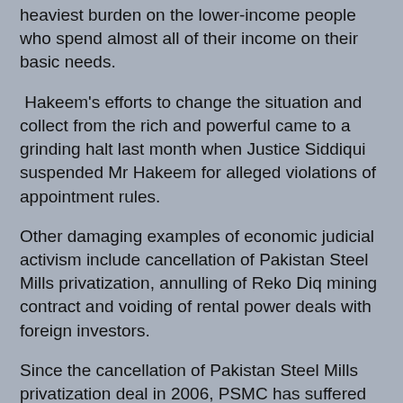heaviest burden on the lower-income people who spend almost all of their income on their basic needs.
Hakeem's efforts to change the situation and collect from the rich and powerful came to a grinding halt last month when Justice Siddiqui suspended Mr Hakeem for alleged violations of appointment rules.
Other damaging examples of economic judicial activism include cancellation of Pakistan Steel Mills privatization, annulling of Reko Diq mining contract and voiding of rental power deals with foreign investors.
Since the cancellation of Pakistan Steel Mills privatization deal in 2006, PSMC has suffered huge losses that cost the taxpayers tens of billions of rupees--Rs 26.5 billion in 2009, Rs 11.5 billion in 2010, Rs 11.4 billion in 2011 and Rs 21 billion in 2012. Had Prime Minister Shaukat Aziz's government been allowed to proceed with privatization in 2006, the PSMC would have been a significant contributor to the national exchequer rather than a huge drain on the public treasury. The money saved could have been used to fund